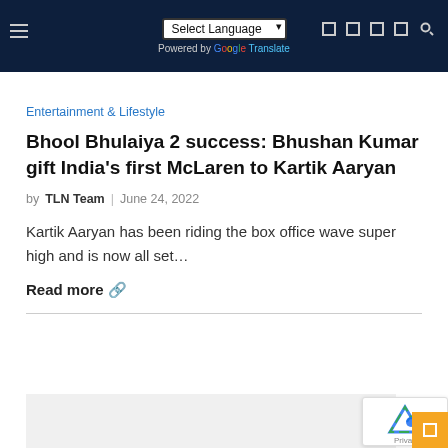Select Language | Powered by Google Translate
Entertainment & Lifestyle
Bhool Bhulaiya 2 success: Bhushan Kumar gift India's first McLaren to Kartik Aaryan
by TLN Team | June 24, 2022
Kartik Aaryan has been riding the box office wave super high and is now all set…
Read more 🔗